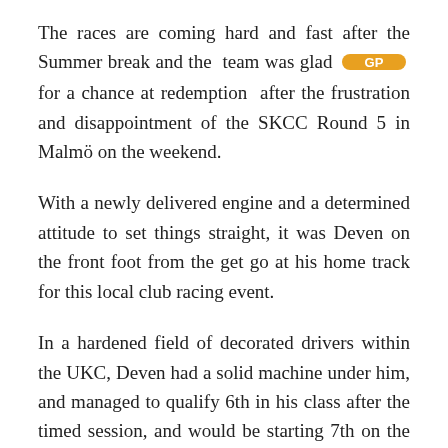The races are coming hard and fast after the Summer break and the team was glad for a chance at redemption after the frustration and disappointment of the SKCC Round 5 in Malmö on the weekend.
With a newly delivered engine and a determined attitude to set things straight, it was Deven on the front foot from the get go at his home track for this local club racing event.
In a hardened field of decorated drivers within the UKC, Deven had a solid machine under him, and managed to qualify 6th in his class after the timed session, and would be starting 7th on the grid in the pre-final race.
The young development driver made a storming start,